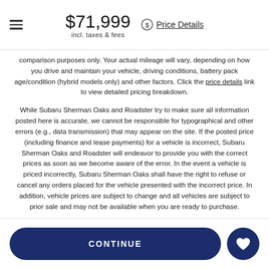$71,999 incl. taxes & fees | Price Details
comparison purposes only. Your actual mileage will vary, depending on how you drive and maintain your vehicle, driving conditions, battery pack age/condition (hybrid models only) and other factors. Click the price details link to view detailed pricing breakdown.
While Subaru Sherman Oaks and Roadster try to make sure all information posted here is accurate, we cannot be responsible for typographical and other errors (e.g., data transmission) that may appear on the site. If the posted price (including finance and lease payments) for a vehicle is incorrect, Subaru Sherman Oaks and Roadster will endeavor to provide you with the correct prices as soon as we become aware of the error. In the event a vehicle is priced incorrectly, Subaru Sherman Oaks shall have the right to refuse or cancel any orders placed for the vehicle presented with the incorrect price. In addition, vehicle prices are subject to change and all vehicles are subject to prior sale and may not be available when you are ready to purchase.